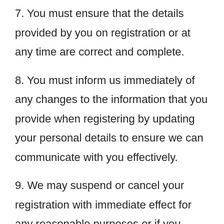7. You must ensure that the details provided by you on registration or at any time are correct and complete.
8. You must inform us immediately of any changes to the information that you provide when registering by updating your personal details to ensure we can communicate with you effectively.
9. We may suspend or cancel your registration with immediate effect for any reasonable purposes or if you breach these terms and conditions.